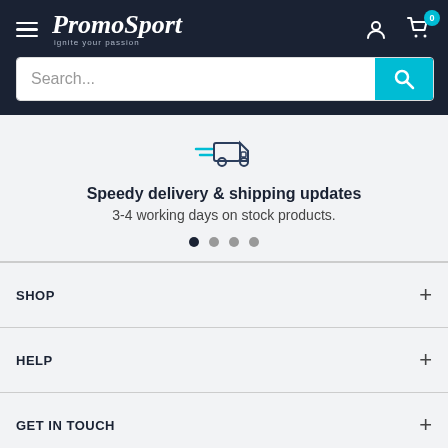[Figure (logo): PromoSport logo with tagline 'ignite your passion' on dark navy header background, with hamburger menu icon, user icon, and cart icon with badge '0']
[Figure (screenshot): Search bar with placeholder text 'Search...' and teal search button with magnifying glass icon]
[Figure (illustration): Delivery truck icon with speed lines in teal/dark color]
Speedy delivery & shipping updates
3-4 working days on stock products.
SHOP
HELP
GET IN TOUCH